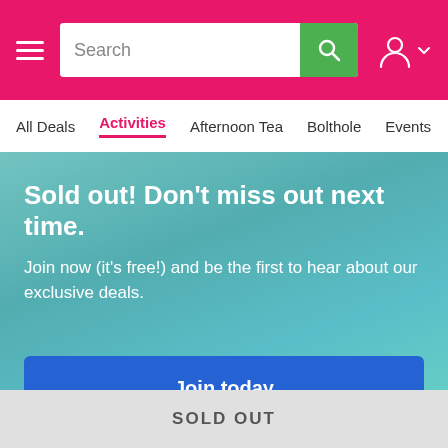Search | All Deals | Activities | Afternoon Tea | Bolthole | Events | Foo
[Figure (screenshot): Website navigation bar with pink header, search box, hamburger menu, and user icon]
Sold out! Don't miss out next time.
Join now (it's free!) and be the first to hear about our exclusive deals.
Join today
+ View more deals
SOLD OUT